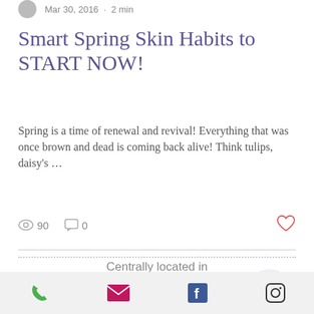Mar 30, 2016 · 2 min
Smart Spring Skin Habits to START NOW!
Spring is a time of renewal and revival! Everything that was once brown and dead is coming back alive! Think tulips, daisy's …
👁 90   💬 0   ♡
Centrally located in Williamsville, NY with a convenient parking lot!
7158 Transit Road
Williamsville, NY 14221
in R Salon
Phone | Email | Facebook | Instagram